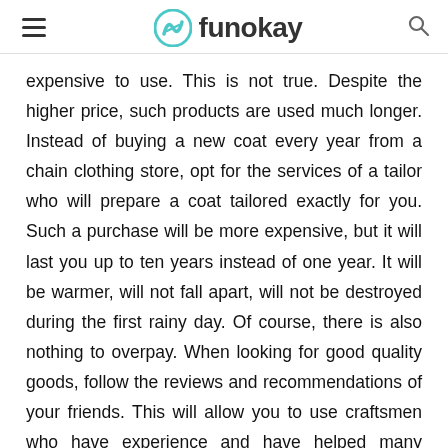funokay
expensive to use. This is not true. Despite the higher price, such products are used much longer. Instead of buying a new coat every year from a chain clothing store, opt for the services of a tailor who will prepare a coat tailored exactly for you. Such a purchase will be more expensive, but it will last you up to ten years instead of one year. It will be warmer, will not fall apart, will not be destroyed during the first rainy day. Of course, there is also nothing to overpay. When looking for good quality goods, follow the reviews and recommendations of your friends. This will allow you to use craftsmen who have experience and have helped many people get their dream items.